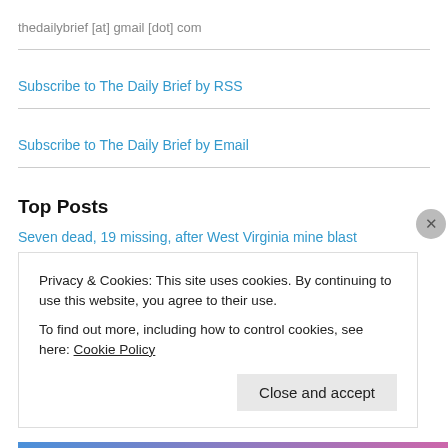thedailybrief [at] gmail [dot] com
Subscribe to The Daily Brief by RSS
Subscribe to The Daily Brief by Email
Top Posts
Seven dead, 19 missing, after West Virginia mine blast
Privacy & Cookies: This site uses cookies. By continuing to use this website, you agree to their use.
To find out more, including how to control cookies, see here: Cookie Policy
Close and accept